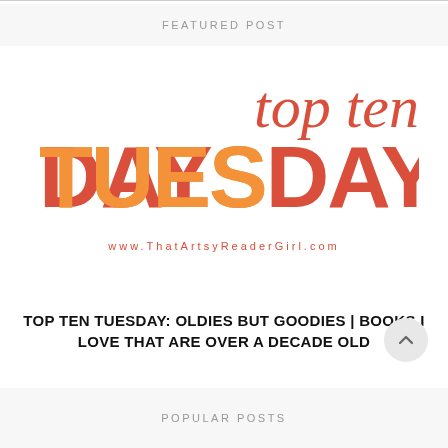FEATURED POST
[Figure (logo): Top Ten Tuesday logo with 'top ten' in red italic serif script above 'TUESDAY' in large bold gradient orange-to-red sans-serif letters, with 'www.ThatArtsyReaderGirl.com' below in spaced red text]
TOP TEN TUESDAY: OLDIES BUT GOODIES | BOOKS I LOVE THAT ARE OVER A DECADE OLD
POPULAR POSTS